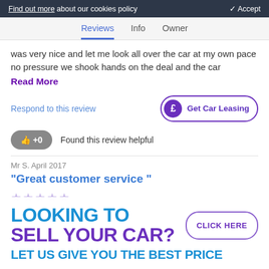Find out more about our cookies policy   ✓ Accept
Reviews  Info  Owner
was very nice and let me look all over the car at my own pace no pressure we shook hands on the deal and the car
Read More
Respond to this review
£ Get Car Leasing
👍 +0  Found this review helpful
Mr S. April 2017
"Great customer service "
[Figure (infographic): Ad banner: LOOKING TO SELL YOUR CAR? CLICK HERE LET US GIVE YOU THE BEST PRICE]